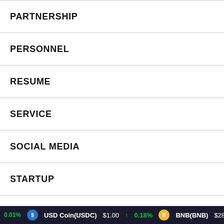PARTNERSHIP
PERSONNEL
RESUME
SERVICE
SOCIAL MEDIA
STARTUP
STOCKS
TELECOM
TIPS
0.01%   USD Coin(USDC) $1.00 ↑ 0.18%   BNB(BNB) $280.5